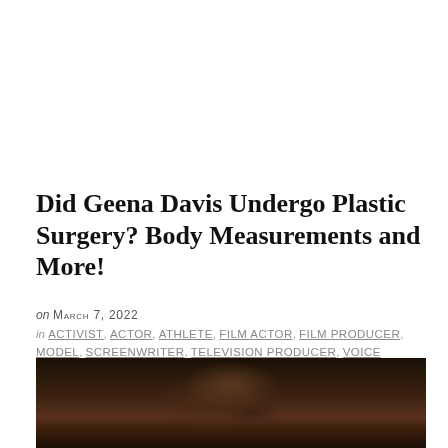Did Geena Davis Undergo Plastic Surgery? Body Measurements and More!
on MARCH 7, 2022
in ACTIVIST, ACTOR, ATHLETE, FILM ACTOR, FILM PRODUCER, MODEL, SCREENWRITER, TELEVISION PRODUCER, VOICE ACTOR
[Figure (photo): A dark photograph showing curly hair of a person, mostly in shadow with dark brown tones]